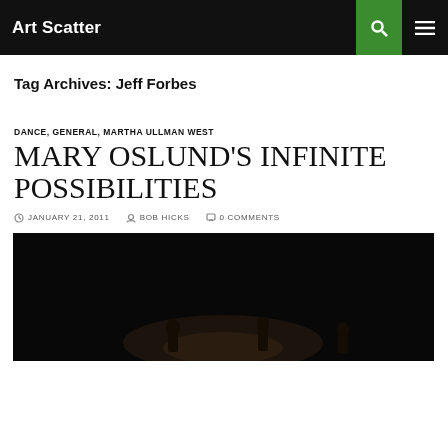Art Scatter
Tag Archives: Jeff Forbes
DANCE, GENERAL, MARTHA ULLMAN WEST
MARY OSLUND'S INFINITE POSSIBILITIES
JANUARY 21, 2011  BOB HICKS  0 COMMENTS
[Figure (photo): Dark stage performance photo showing dancers silhouetted against dark background with subtle warm lighting]